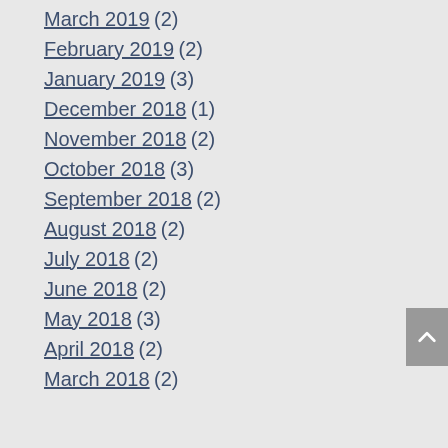March 2019 (2)
February 2019 (2)
January 2019 (3)
December 2018 (1)
November 2018 (2)
October 2018 (3)
September 2018 (2)
August 2018 (2)
July 2018 (2)
June 2018 (2)
May 2018 (3)
April 2018 (2)
March 2018 (2)